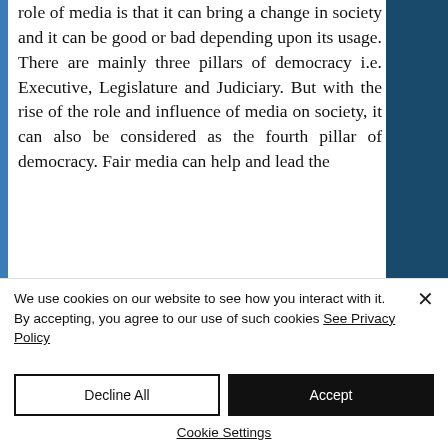role of media is that it can bring a change in society and it can be good or bad depending upon its usage. There are mainly three pillars of democracy i.e. Executive, Legislature and Judiciary. But with the rise of the role and influence of media on society, it can also be considered as the fourth pillar of democracy. Fair media can help and lead the
We use cookies on our website to see how you interact with it. By accepting, you agree to our use of such cookies See Privacy Policy
Decline All
Accept
Cookie Settings